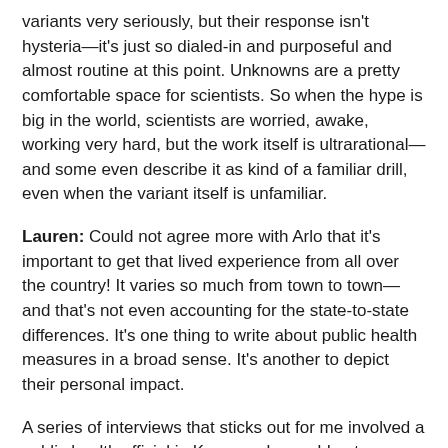variants very seriously, but their response isn't hysteria—it's just so dialed-in and purposeful and almost routine at this point. Unknowns are a pretty comfortable space for scientists. So when the hype is big in the world, scientists are worried, awake, working very hard, but the work itself is ultrarational—and some even describe it as kind of a familiar drill, even when the variant itself is unfamiliar.
Lauren: Could not agree more with Arlo that it's important to get that lived experience from all over the country! It varies so much from town to town—and that's not even accounting for the state-to-state differences. It's one thing to write about public health measures in a broad sense. It's another to depict their personal impact.
A series of interviews that sticks out for me involved a public health official in Kansas who could not convince her community, despite rising COVID cases and deaths in late 2020, to institute a mask mandate. She had spent 42 years in this small town in Kansas, and yet her neighbors were